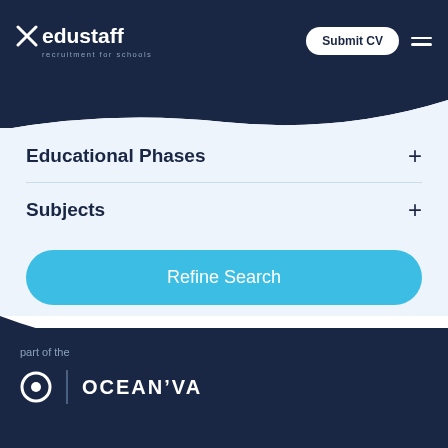edustaff recruitment for schools | Submit CV
Educational Phases
Subjects
Refine Search
part of the OCEANOVA